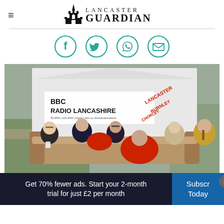Lancaster Guardian
[Figure (logo): Lancaster Guardian newspaper logo with gothic church spire icon and LANCASTER GUARDIAN text]
[Figure (infographic): Social sharing icons: Facebook, Twitter, WhatsApp, Email — teal circle outlines]
[Figure (photo): Photograph of people seated on sofas under a BBC Radio Lancashire branded gazebo tent outdoors at what appears to be a racecourse or event venue. Several individuals are seated in a discussion setting.]
Get 70% fewer ads. Start your 2-month trial for just £2 per month
Subscribe Today